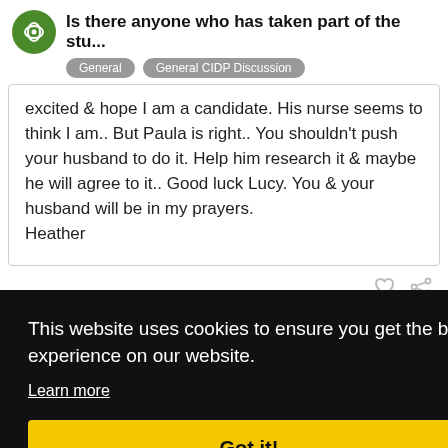Is there anyone who has taken part of the stu...
General   General CIDP Discussion
excited & hope I am a candidate. His nurse seems to think I am.. But Paula is right.. You shouldn't push your husband to do it. Help him research it & maybe he will agree to it.. Good luck Lucy. You & your husband will be in my prayers.
Heather
Dec '13
This website uses cookies to ensure you get the best experience on our website. Learn more  Got it!